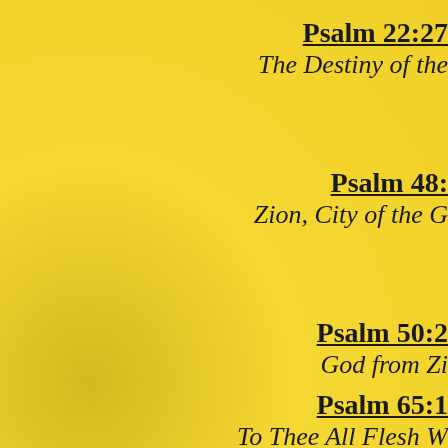Psalm 22:27 / The Destiny of the
Psalm 48: / Zion, City of the G
Psalm 50:2 / God from Zi
Psalm 65:1 / To Thee All Flesh W